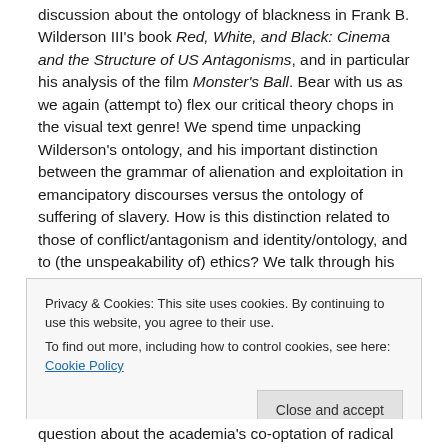discussion about the ontology of blackness in Frank B. Wilderson III's book Red, White, and Black: Cinema and the Structure of US Antagonisms, and in particular his analysis of the film Monster's Ball. Bear with us as we again (attempt to) flex our critical theory chops in the visual text genre! We spend time unpacking Wilderson's ontology, and his important distinction between the grammar of alienation and exploitation in emancipatory discourses versus the ontology of suffering of slavery. How is this distinction related to those of conflict/antagonism and identity/ontology, and to (the unspeakability of) ethics? We talk through his extensive interrogation of the dissonance between the narrative structure of the film and its strategies of
Privacy & Cookies: This site uses cookies. By continuing to use this website, you agree to their use.
To find out more, including how to control cookies, see here: Cookie Policy
Close and accept
question about the academia's co-optation of radical